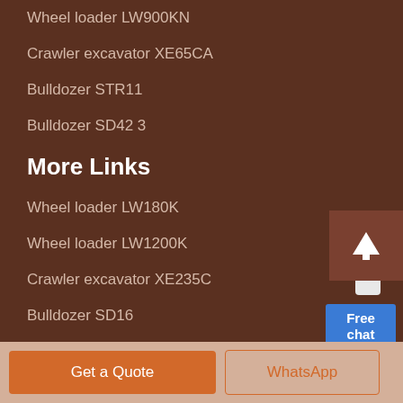Wheel loader LW900KN
Crawler excavator XE65CA
Bulldozer STR11
Bulldozer SD42 3
More Links
Wheel loader LW180K
Wheel loader LW1200K
Crawler excavator XE235C
Bulldozer SD16
[Figure (illustration): Customer service representative with headset and blue Free chat button widget in top-right area]
[Figure (illustration): Dark brown scroll-to-top button with upward arrow at bottom right]
[Figure (illustration): Partial circular loading spinner arc in center-right area]
Get a Quote
WhatsApp